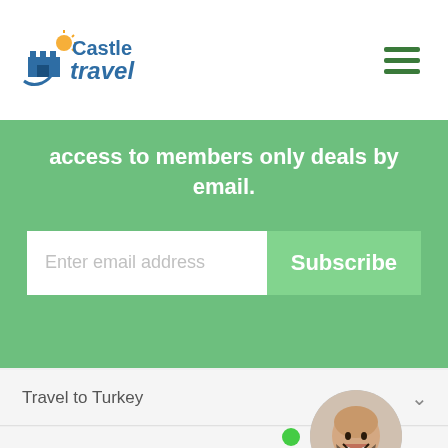[Figure (logo): Castle Travel logo with castle icon and sun graphic]
access to members only deals by email.
Enter email address
Subscribe
Travel to Turkey
Travel Types
About
[Figure (photo): Circular avatar photo of smiling bald man with beard wearing suit jacket]